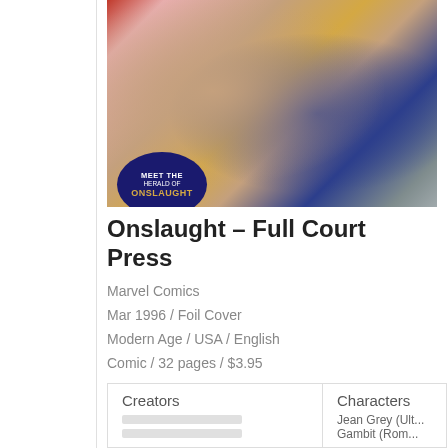[Figure (illustration): Comic book cover art showing Wolverine in yellow suit grappling with a large armored figure, with 'Meet the Herald of Onslaught' badge in lower left corner.]
Onslaught – Full Court Press
Marvel Comics
Mar 1996 / Foil Cover
Modern Age / USA / English
Comic / 32 pages / $3.95
| Creators | Characters |
| --- | --- |
|  | Jean Grey (Ult... |
|  | Gambit (Rom... |